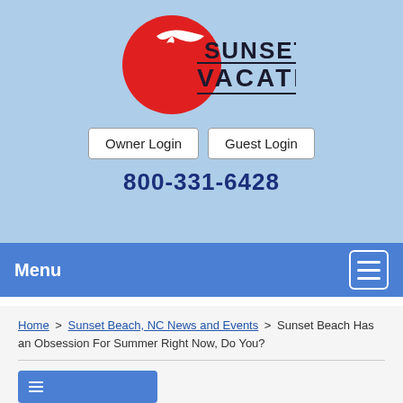[Figure (logo): Sunset Vacations logo with red sun circle and white seagull, above the text SUNSET VACATIONS]
Owner Login
Guest Login
800-331-6428
Menu
Home > Sunset Beach, NC News and Events > Sunset Beach Has an Obsession For Summer Right Now, Do You?